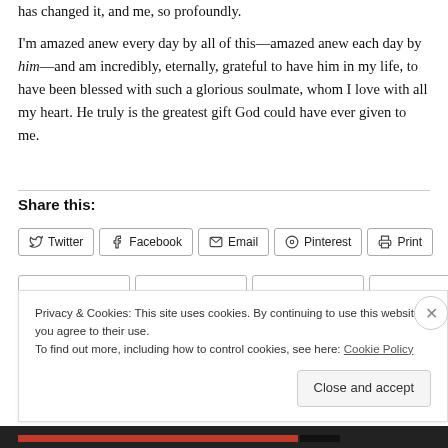has changed it, and me, so profoundly.
I'm amazed anew every day by all of this—amazed anew each day by him—and am incredibly, eternally, grateful to have him in my life, to have been blessed with such a glorious soulmate, whom I love with all my heart. He truly is the greatest gift God could have ever given to me.
Share this:
Twitter  Facebook  Email  Pinterest  Print
Privacy & Cookies: This site uses cookies. By continuing to use this website, you agree to their use. To find out more, including how to control cookies, see here: Cookie Policy
Close and accept